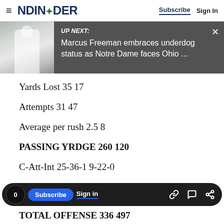NDINSiDER | Subscribe | Sign In
[Figure (screenshot): UP NEXT banner with photo of Marcus Freeman and headline: Marcus Freeman embraces underdog status as Notre Dame faces Ohio ...]
Yards Lost 35 17
Attempts 31 47
Average per rush 2.5 8
PASSING YRDGE 260 120
C-Att-Int 25-36-1 9-22-0
0 | Subscribe | Sign in | [link icon] [comment icon] [share icon]
TOTAL OFFENSE 336 497